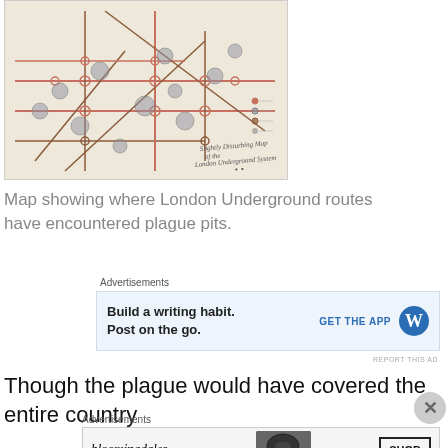[Figure (map): Map showing London Underground routes overlaid with plague pit locations. Routes shown in reddish-brown lines with circular station markers. Plague pit locations shown as gray circles. Cursive text reads 'Slightly Disturbing Map of the London Underground System'.]
Map showing where London Underground routes have encountered plague pits.
Advertisements
[Figure (other): Advertisement: Build a writing habit. Post on the go. GET THE APP [WordPress logo]]
REPORT THIS AD
Though the plague would have covered the entire country
Advertisements
[Figure (other): Advertisement: Bloomingdale's - View Today's Top Deals! SHOP NOW >]